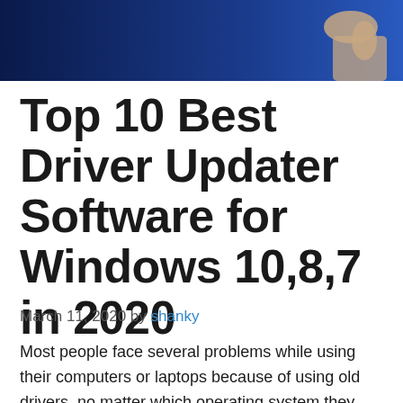[Figure (photo): A photo showing a hand against a dark blue background, cropped at the top of the page.]
Top 10 Best Driver Updater Software for Windows 10,8,7 in 2020
March 11, 2020 by shanky
Most people face several problems while using their computers or laptops because of using old drivers, no matter which operating system they use. This problem can be easily